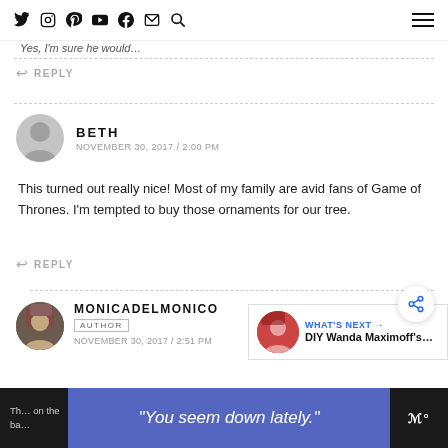Social media icons and hamburger menu
Yes, I'm sure he would…
REPLY
BETH
NOVEMBER 30, 2017 / 2:00 PM
This turned out really nice! Most of my family are avid fans of Game of Thrones. I'm tempted to buy those ornaments for our tree.
REPLY
MONICADELMONICO
AUTHOR
NOVEMBER 30, 2017 / 2:51 PM
WHAT'S NEXT → DIY Wanda Maximoff's…
"You seem down lately."